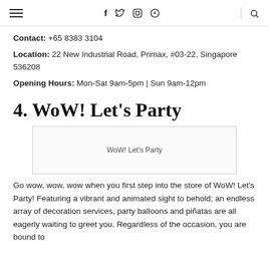≡   f  🐦  📷  ℗   🔍
Contact: +65 8383 3104
Location: 22 New Industrial Road, Primax, #03-22, Singapore 536208
Opening Hours: Mon-Sat 9am-5pm | Sun 9am-12pm
4. WoW! Let's Party
[Figure (other): Placeholder image box with caption 'WoW! Let's Party']
WoW! Let's Party
Go wow, wow, wow when you first step into the store of WoW! Let's Party! Featuring a vibrant and animated sight to behold; an endless array of decoration services, party balloons and piñatas are all eagerly waiting to greet you. Regardless of the occasion, you are bound to